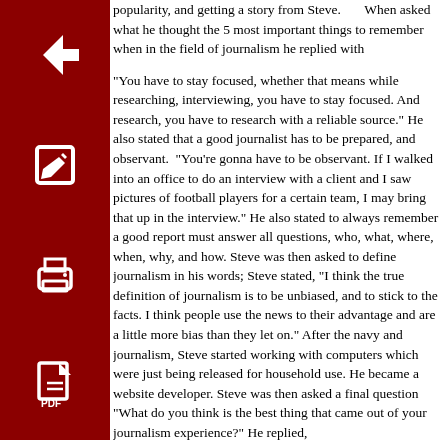popularity, and getting a story from Steve. When asked what he thought the 5 most important things to remember when in the field of journalism he replied with
“You have to stay focused, whether that means while researching, interviewing, you have to stay focused. And research, you have to research with a reliable source.” He also stated that a good journalist has to be prepared, and observant. “You’re gonna have to be observant. If I walked into an office to do an interview with a client and I saw pictures of football players for a certain team, I may bring that up in the interview.” He also stated to always remember a good report must answer all questions, who, what, where, when, why, and how. Steve was then asked to define journalism in his words; Steve stated, “I think the true definition of journalism is to be unbiased, and to stick to the facts. I think people use the news to their advantage and are a little more bias than they let on.” After the navy and journalism, Steve started working with computers which were just being released for household use. He became a website developer. Steve was then asked a final question “What do you think is the best thing that came out of your journalism experience?” He replied,
“I really enjoyed all the stories I found, all the different people, you know, you really get a better feel for how many things different people face everyday in their lives and how different everyone really is.”